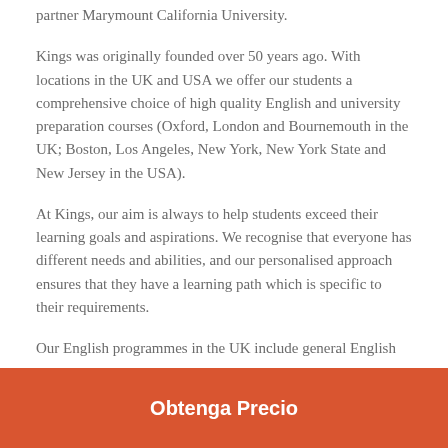partner Marymount California University.
Kings was originally founded over 50 years ago. With locations in the UK and USA we offer our students a comprehensive choice of high quality English and university preparation courses (Oxford, London and Bournemouth in the UK; Boston, Los Angeles, New York, New York State and New Jersey in the USA).
At Kings, our aim is always to help students exceed their learning goals and aspirations. We recognise that everyone has different needs and abilities, and our personalised approach ensures that they have a learning path which is specific to their requirements.
Our English programmes in the UK include general English
Obtenga Precio